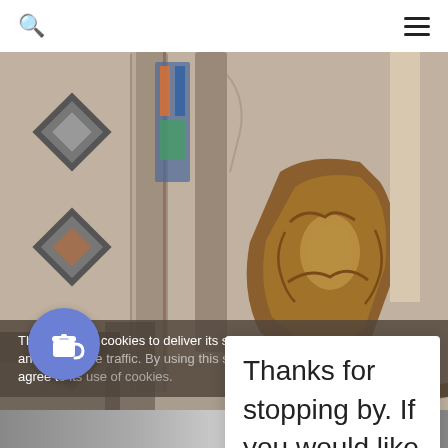Search and Menu navigation bar
[Figure (photo): Interior of a Gothic church showing ornate carved wooden pulpit with baroque decorations, large stone columns, stained glass windows in the background, and diamond-shaped decorative elements on the left wall.]
This site uses cookies to deliver its services and to a... agree t...
Thanks for stopping by. If you would like to support me, you can buy me a coffee!
[Figure (illustration): Blue circular button with a coffee cup icon (Buy Me a Coffee widget)]
[Figure (photo): Bottom strip showing partial image, appears to be another photo below the fold.]